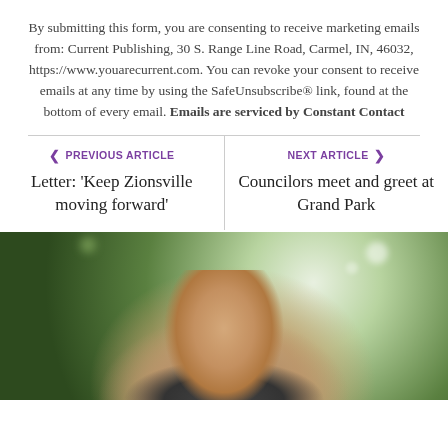By submitting this form, you are consenting to receive marketing emails from: Current Publishing, 30 S. Range Line Road, Carmel, IN, 46032, https://www.youarecurrent.com. You can revoke your consent to receive emails at any time by using the SafeUnsubscribe® link, found at the bottom of every email. Emails are serviced by Constant Contact
< PREVIOUS ARTICLE — Letter: 'Keep Zionsville moving forward'
NEXT ARTICLE > — Councilors meet and greet at Grand Park
[Figure (photo): Portrait photo of a bald man against a blurred green bokeh background]